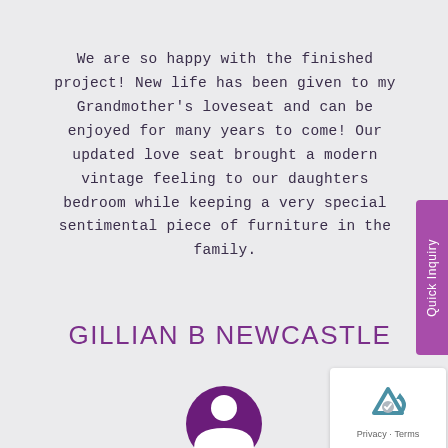We are so happy with the finished project! New life has been given to my Grandmother's loveseat and can be enjoyed for many years to come! Our updated love seat brought a modern vintage feeling to our daughters bedroom while keeping a very special sentimental piece of furniture in the family.
GILLIAN B NEWCASTLE
[Figure (illustration): Purple circular avatar icon with a person silhouette in white]